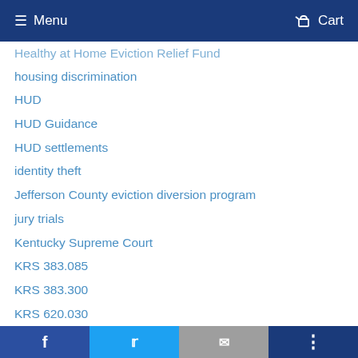Menu  Cart
Healthy at Home Eviction Relief Fund
housing discrimination
HUD
HUD Guidance
HUD settlements
identity theft
Jefferson County eviction diversion program
jury trials
Kentucky Supreme Court
KRS 383.085
KRS 383.300
KRS 620.030
landlords
Social share bar: Facebook, Twitter, Email, More